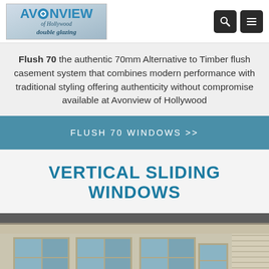[Figure (logo): Avonview of Hollywood double glazing logo with blue text on grey background]
Flush 70 the authentic 70mm Alternative to Timber flush casement system that combines modern performance with traditional styling offering authenticity without compromise available at Avonview of Hollywood
FLUSH 70 WINDOWS >>
VERTICAL SLIDING WINDOWS
[Figure (photo): Photograph of a building exterior showing vertical sliding windows set in stone and rendered facade with cornice detail]